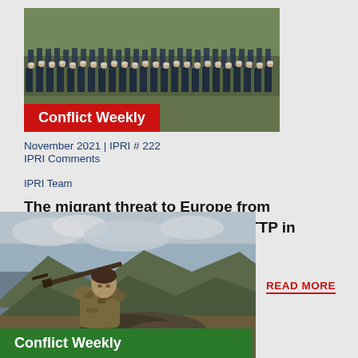[Figure (photo): Crowd of uniformed police or military personnel standing in rows in an outdoor/field setting]
[Figure (logo): Red badge with white bold text reading 'Conflict Weekly']
November 2021 | IPRI # 222
IPRI Comments
IPRI Team
The migrant threat to Europe from Belarus and Ceasefire with the TTP in Pakistan
READ MORE
[Figure (photo): A soldier in camouflage uniform carrying a rifle, crouching behind rocks with mountains in background]
[Figure (logo): Green badge with white bold text reading 'Conflict Weekly']